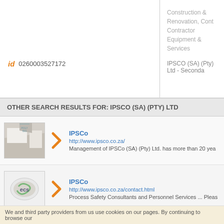Construction & Renovation, Contractor Equipment & Services
IPSCO (SA) (Pty) Ltd - Seconda
id 0260003527172
OTHER SEARCH RESULTS FOR: IPSCO (SA) (PTY) LTD
IPSCo
http://www.ipsco.co.za/
Management of IPSCo (SA) (Pty) Ltd. has more than 20 yea
IPSCo
http://www.ipsco.co.za/contact.html
Process Safety Consultants and Personnel Services ... Pleas
Instrumentation Jobs, vacancies | Indeed.co.
http://www.indeed.co.za/Instrumentation-jobs
591 Instrumentation Vacancies available on Indeed.co.za. on
We and third party providers from us use cookies on our pages. By continuing to browse our